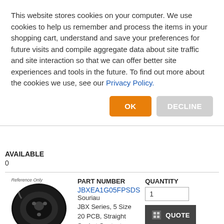This website stores cookies on your computer. We use cookies to help us remember and process the items in your shopping cart, understand and save your preferences for future visits and compile aggregate data about site traffic and site interaction so that we can offer better site experiences and tools in the future. To find out more about the cookies we use, see our Privacy Policy.
OK
DECLINE
AVAILABLE
0
[Figure (photo): Circular black connector component, reference only image]
PART NUMBER
JBXEA1G05FPSDS
Souriau
JBX Series, 5 Size 20 PCB, Straight Socket Contacts, Layout 1-05, Receptacle Jam Nut - Front Mount, Nickel Chrome Plating
PRICE
QUANTITY
1
QUOTE
Press QUOTE for price and availability (or